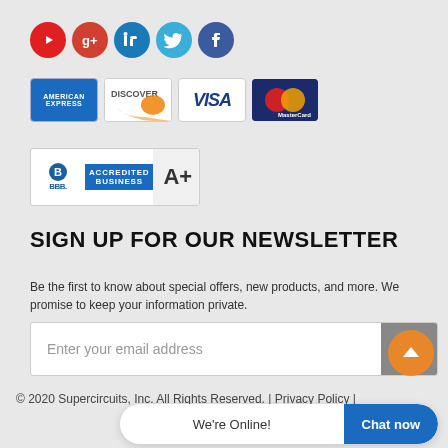[Figure (logo): Social media icons: YouTube, Google+, LinkedIn, Twitter, Facebook]
[Figure (logo): Payment method icons: American Express, Discover, Visa, MasterCard]
[Figure (logo): BBB Accredited Business A+ badge]
SIGN UP FOR OUR NEWSLETTER
Be the first to know about special offers, new products, and more. We promise to keep your information private.
[Figure (other): Email subscription input field with send button]
[Figure (other): Scroll to top button (orange circle with upward arrow)]
© 2020 Supercircuits, Inc. All Rights Reserved. | Privacy Policy |
[Figure (other): Chat widget: We're Online! Chat now button]